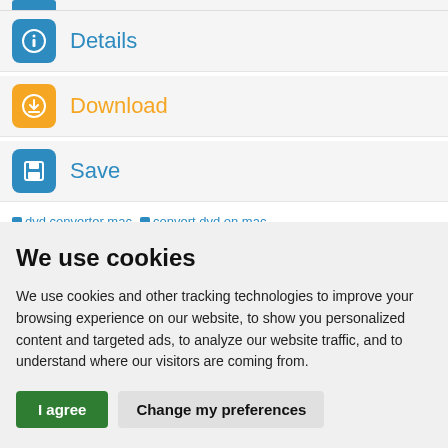[Figure (screenshot): Partial menu item at top with blue icon bar visible]
Details
Download
Save
dvd converter mac   convert dvd on mac   convert dvd for mac   dvd ripper mac
We use cookies
We use cookies and other tracking technologies to improve your browsing experience on our website, to show you personalized content and targeted ads, to analyze our website traffic, and to understand where our visitors are coming from.
I agree   Change my preferences